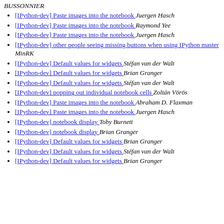BUSSONNIER
[IPython-dev] Paste images into the notebook  Juergen Hasch
[IPython-dev] Paste images into the notebook  Raymond Yee
[IPython-dev] Paste images into the notebook  Juergen Hasch
[IPython-dev] other people seeing missing buttons when using IPython master  MinRK
[IPython-dev] Default values for widgets  Stéfan van der Walt
[IPython-dev] Default values for widgets  Brian Granger
[IPython-dev] Default values for widgets  Stéfan van der Walt
[IPython-dev] popping out individual notebook cells  Zoltán Vörös
[IPython-dev] Paste images into the notebook  Abraham D. Flaxman
[IPython-dev] Paste images into the notebook  Juergen Hasch
[IPython-dev] notebook display  Toby Burnett
[IPython-dev] notebook display  Brian Granger
[IPython-dev] Default values for widgets  Brian Granger
[IPython-dev] Default values for widgets  Stéfan van der Walt
[IPython-dev] Default values for widgets  Brian Granger